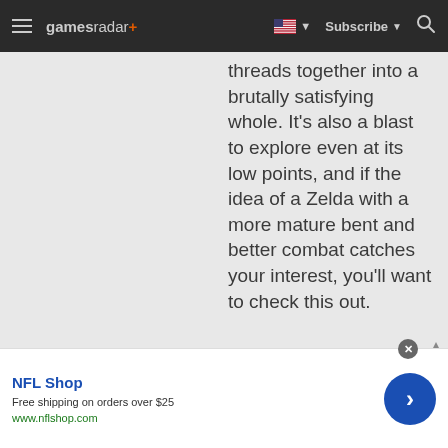gamesradar+ | Subscribe | Search
threads together into a brutally satisfying whole. It's also a blast to explore even at its low points, and if the idea of a Zelda with a more mature bent and better combat catches your interest, you'll want to check this out.
Platform "PC" "PS3" "Xbox
[Figure (screenshot): NFL Shop advertisement banner with blue CTA button]